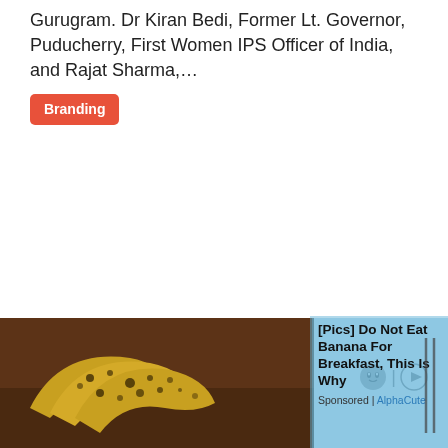Gurugram. Dr Kiran Bedi, Former Lt. Governor, Puducherry, First Women IPS Officer of India, and Rajat Sharma,…
Branding
[Figure (photo): Advertisement banner showing overripe spotted bananas on a wooden surface with ad text overlay]
[Pics] Do Not Eat Banana For Breakfast, This Is Why
Sponsored | AlphaCute